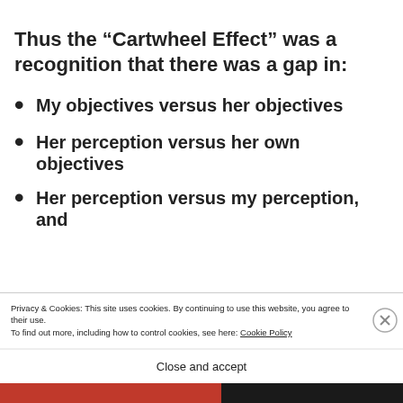Thus the “Cartwheel Effect” was a recognition that there was a gap in:
My objectives versus her objectives
Her perception versus her own objectives
Her perception versus my perception, and
Privacy & Cookies: This site uses cookies. By continuing to use this website, you agree to their use.
To find out more, including how to control cookies, see here: Cookie Policy
Close and accept